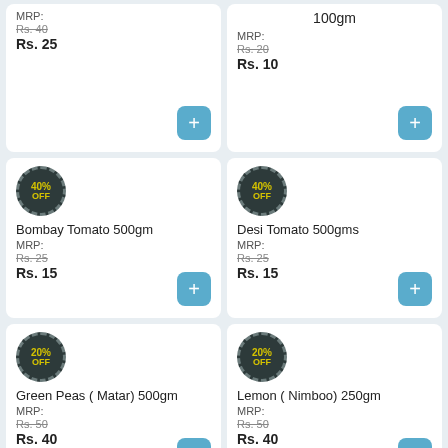MRP:
Rs. 40 (strikethrough)
Rs. 25
100gm
MRP:
Rs. 20 (strikethrough)
Rs. 10
[Figure (infographic): 40% OFF badge - dark circular badge with dashed border]
Bombay Tomato 500gm
MRP:
Rs. 25 (strikethrough)
Rs. 15
[Figure (infographic): 40% OFF badge - dark circular badge with dashed border]
Desi Tomato 500gms
MRP:
Rs. 25 (strikethrough)
Rs. 15
[Figure (infographic): 20% OFF badge - dark circular badge with dashed border]
Green Peas ( Matar) 500gm
MRP:
Rs. 50 (strikethrough)
Rs. 40
[Figure (infographic): 20% OFF badge - dark circular badge with dashed border]
Lemon ( Nimboo) 250gm
MRP:
Rs. 50 (strikethrough)
Rs. 40